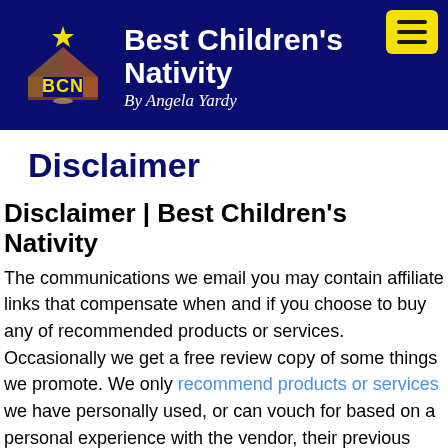Best Children's Nativity | By Angela Yardy
Disclaimer
Disclaimer | Best Children's Nativity
The communications we email you may contain affiliate links that compensate when and if you choose to buy any of recommended products or services. Occasionally we get a free review copy of some things we promote. We only recommend products or services we have personally used, or can vouch for based on a personal experience with the vendor, their previous products or services, or their good standing and reputation in their industry. Even though